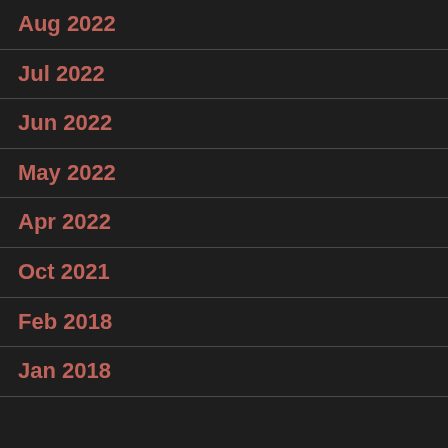Aug 2022
Jul 2022
Jun 2022
May 2022
Apr 2022
Oct 2021
Feb 2018
Jan 2018